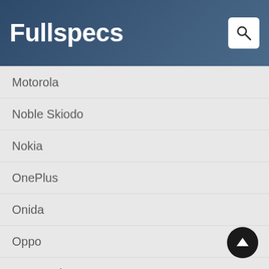Fullspecs
Motorola
Noble Skiodo
Nokia
OnePlus
Onida
Oppo
Panasonic
Philips
Realme
Salora
Samsung
Sansui
Sanyo
Skyworth